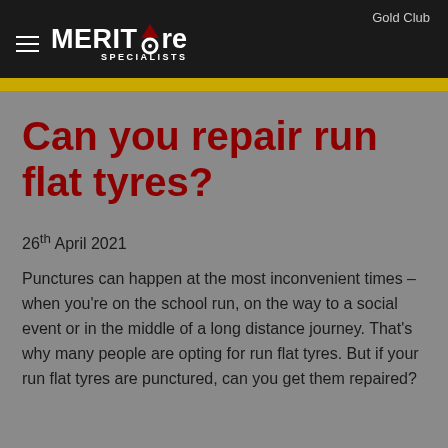Gold Club
[Figure (logo): Merit Tyre Specialists logo with hamburger menu icon on dark background]
Can you repair run flat tyres?
26th April 2021
Punctures can happen at the most inconvenient times – when you're on the school run, on the way to a social event or in the middle of a long distance journey. That's why many people are opting for run flat tyres. But if your run flat tyres are punctured, can you get them repaired?